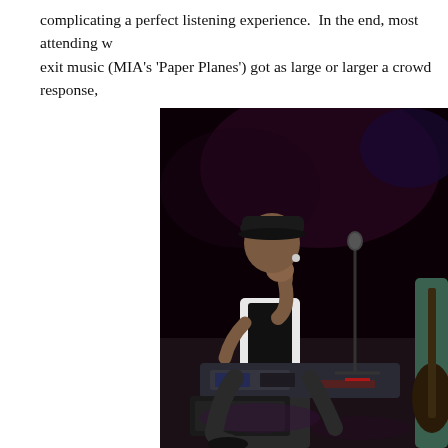complicating a perfect listening experience.  In the end, most attending w exit music (MIA's 'Paper Planes') got as large or larger a crowd response,
[Figure (photo): Concert photo showing a performer on stage wearing a dark cap and black and white outfit, sitting at what appears to be a keyboard/mixing equipment, with a microphone stand visible and another performer partially visible on the right edge. Dark stage background with purple lighting accents.]